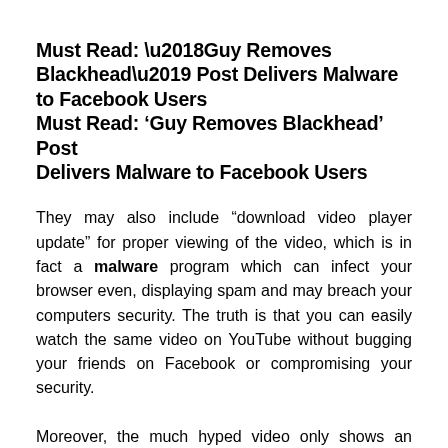Must Read: ‘Guy Removes Blackhead’ Post Delivers Malware to Facebook Users
They may also include “download video player update” for proper viewing of the video, which is in fact a malware program which can infect your browser even, displaying spam and may breach your computers security. The truth is that you can easily watch the same video on YouTube without bugging your friends on Facebook or compromising your security.
Moreover, the much hyped video only shows an unborn child’s movement in the womb. If you receive any such inviting links do not fall for them, ignore them and watch the same video below: